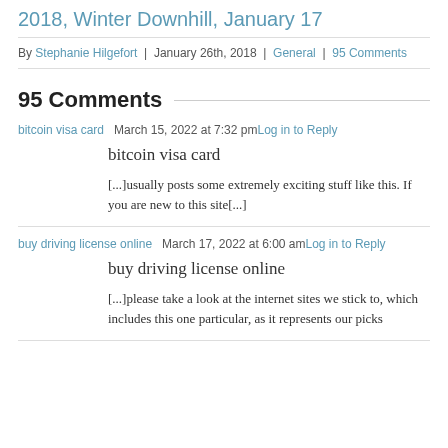2018, Winter Downhill, January 17
By Stephanie Hilgefort | January 26th, 2018 | General | 95 Comments
95 Comments
bitcoin visa card   March 15, 2022 at 7:32 pm  Log in to Reply
bitcoin visa card
[...]usually posts some extremely exciting stuff like this. If you are new to this site[...]
buy driving license online   March 17, 2022 at 6:00 am  Log in to Reply
buy driving license online
[...]please take a look at the internet sites we stick to, which includes this one particular, as it represents our picks